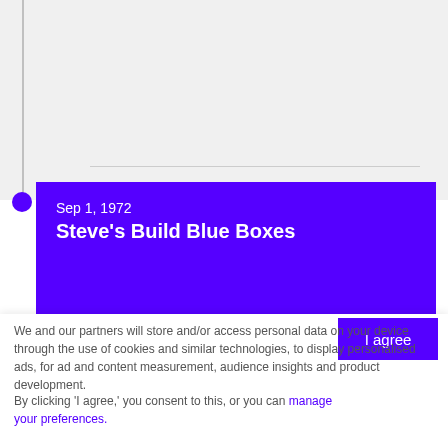[Figure (infographic): Timeline section with vertical purple line, horizontal separator, purple dot marker, and purple card showing date Sep 1, 1972 and title Steve's Build Blue Boxes]
Sep 1, 1972
Steve's Build Blue Boxes
We and our partners will store and/or access personal data on your device through the use of cookies and similar technologies, to display personalised ads, for ad and content measurement, audience insights and product development.
By clicking 'I agree,' you consent to this, or you can manage your preferences.